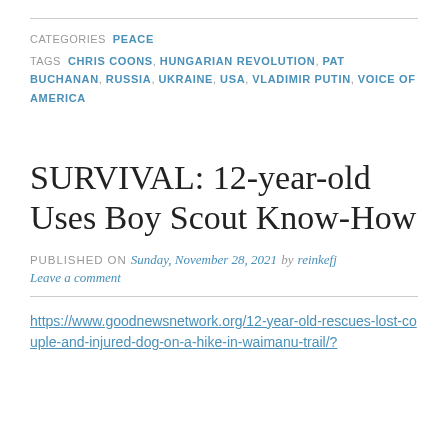CATEGORIES  PEACE
TAGS  CHRIS COONS, HUNGARIAN REVOLUTION, PAT BUCHANAN, RUSSIA, UKRAINE, USA, VLADIMIR PUTIN, VOICE OF AMERICA
SURVIVAL: 12-year-old Uses Boy Scout Know-How
PUBLISHED ON Sunday, November 28, 2021 by reinkefj
Leave a comment
https://www.goodnewsnetwork.org/12-year-old-rescues-lost-couple-and-injured-dog-on-a-hike-in-waimanu-trail/?